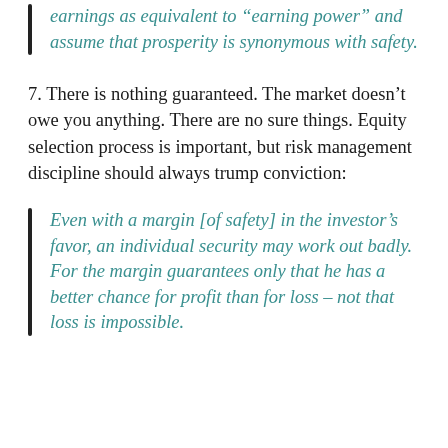earnings as equivalent to “earning power” and assume that prosperity is synonymous with safety.
7. There is nothing guaranteed. The market doesn’t owe you anything. There are no sure things. Equity selection process is important, but risk management discipline should always trump conviction:
Even with a margin [of safety] in the investor’s favor, an individual security may work out badly. For the margin guarantees only that he has a better chance for profit than for loss – not that loss is impossible.